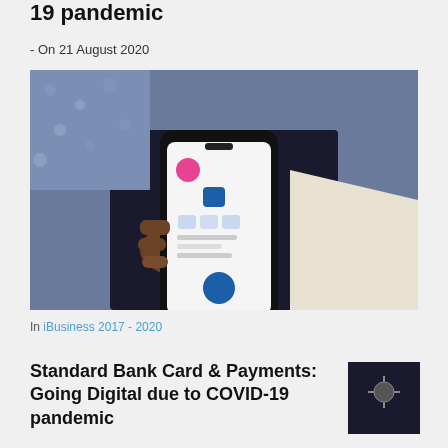19 pandemic
- On 21 August 2020
[Figure (photo): Person holding a smartphone showing a mobile banking or payments app interface, with colorful app icons visible on the screen. The person is wearing a dark jacket and white shirt sleeve is visible.]
In iBusiness 2017 - 2020
Standard Bank Card & Payments: Going Digital due to COVID-19 pandemic